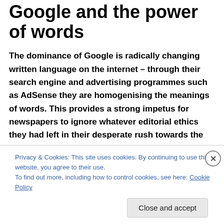Google and the power of words
The dominance of Google is radically changing written language on the internet – through their search engine and advertising programmes such as AdSense they are homogenising the meanings of words. This provides a strong impetus for newspapers to ignore whatever editorial ethics they had left in their desperate rush towards the money from online advertising.
Privacy & Cookies: This site uses cookies. By continuing to use this website, you agree to their use.
To find out more, including how to control cookies, see here: Cookie Policy
Close and accept